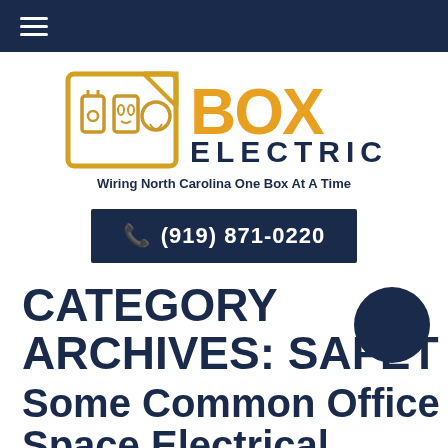Navigation bar with hamburger menu
[Figure (logo): Box Electric logo with electrical box icon and BOX ELECTRIC text in gold/yellow]
Wiring North Carolina One Box At A Time
(919) 871-0220
CATEGORY ARCHIVES: SAFETY
Some Common Office Space Electrical Hazards